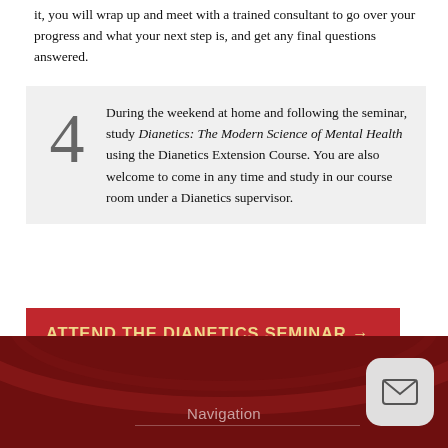it, you will wrap up and meet with a trained consultant to go over your progress and what your next step is, and get any final questions answered.
4 — During the weekend at home and following the seminar, study Dianetics: The Modern Science of Mental Health using the Dianetics Extension Course. You are also welcome to come in any time and study in our course room under a Dianetics supervisor.
ATTEND THE DIANETICS SEMINAR →
Navigation